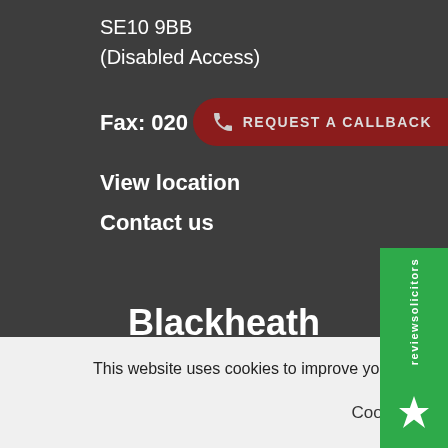SE10 9BB
(Disabled Access)
Fax: 020 8858 5796
View location
Contact us
[Figure (other): REQUEST A CALLBACK button with phone icon on dark red rounded background]
Blackheath
Grant Saw House
8 Tranquil Passage
Blackheath, London
This website uses cookies to improve your experience. assume you're ok with this, but you can opt-out if you w
Cookie settings
ACCEPT
[Figure (logo): reviewsolicitors green badge with logo]